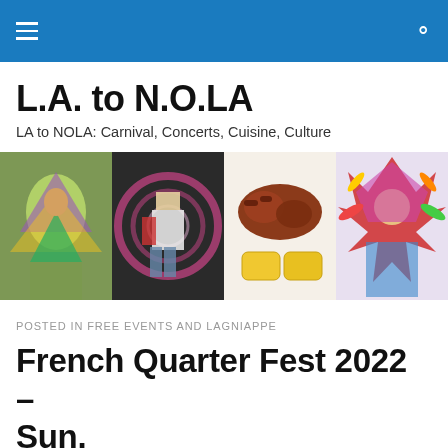L.A. to N.O.LA (navigation bar)
L.A. to N.O.LA
LA to NOLA: Carnival, Concerts, Cuisine, Culture
[Figure (photo): Four photos side by side: Mardi Gras costume in green/purple/yellow feathers; guitarist performing on stage with psychedelic backdrop; plate of BBQ ribs/chicken with corn on the cob; colorful Mardi Gras Indian costume figure.]
POSTED IN FREE EVENTS AND LAGNIAPPE
French Quarter Fest 2022 – Sun.